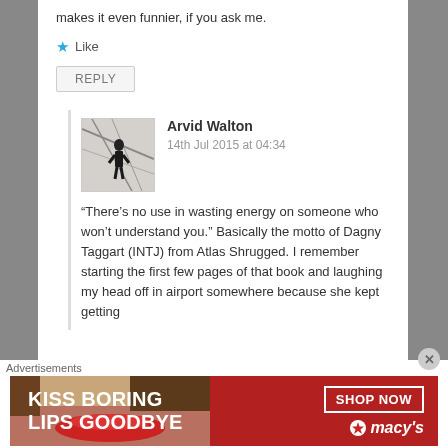makes it even funnier, if you ask me.
Like
REPLY
Arvid Walton
14th Jul 2015 at 04:34
“There’s no use in wasting energy on someone who won’t understand you.” Basically the motto of Dagny Taggart (INTJ) from Atlas Shrugged. I remember starting the first few pages of that book and laughing my head off in airport somewhere because she kept getting
[Figure (photo): Advertisement banner for Macy's: red background with white text 'KISS BORING LIPS GOODBYE', a SHOP NOW button in a white rectangle, and the Macy's star logo with italic text.]